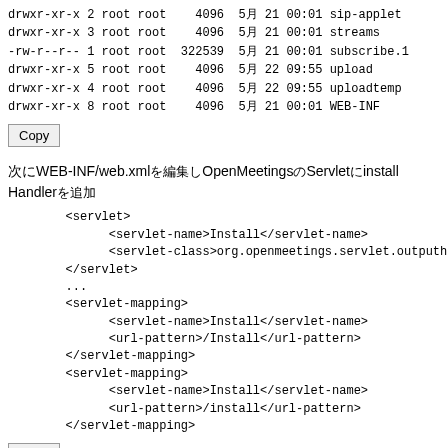drwxr-xr-x 2 root root    4096  5月 21 00:01 sip-applet
drwxr-xr-x 3 root root    4096  5月 21 00:01 streams
-rw-r--r-- 1 root root  322539  5月 21 00:01 subscribe.1
drwxr-xr-x 5 root root    4096  5月 22 09:55 upload
drwxr-xr-x 4 root root    4096  5月 22 09:55 uploadtemp
drwxr-xr-x 8 root root    4096  5月 21 00:01 WEB-INF
Copy
次にWEB-INF/web.xmlを編集しOpenMeetingsのServletにinstall
Handlerを追加
<servlet>
    <servlet-name>Install</servlet-name>
    <servlet-class>org.openmeetings.servlet.outputh
</servlet>
...
<servlet-mapping>
    <servlet-name>Install</servlet-name>
    <url-pattern>/Install</url-pattern>
</servlet-mapping>
<servlet-mapping>
    <servlet-name>Install</servlet-name>
    <url-pattern>/install</url-pattern>
</servlet-mapping>
Copy
▪▪▪▪▪▪▪▪▪▪▪▪▪▪▪▪▪▪▪▪▪